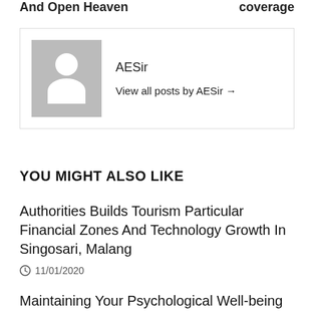And Open Heaven   coverage
[Figure (illustration): Author profile box with grey placeholder avatar showing silhouette head and shoulders, author name AESir, and link 'View all posts by AESir →']
AESir
View all posts by AESir →
YOU MIGHT ALSO LIKE
Authorities Builds Tourism Particular Financial Zones And Technology Growth In Singosari, Malang
11/01/2020
Maintaining Your Psychological Well-being In